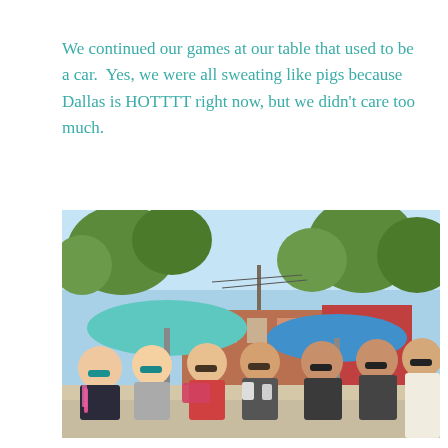We continued our games at our table that used to be a car.  Yes, we were all sweating like pigs because Dallas is HOTTTT right now, but we didn't care too much.
[Figure (photo): Outdoor photo of a group of women sitting at a table (which used to be a car) at an outdoor patio/bar in Dallas. There are teal and blue patio umbrellas, trees, and brick buildings visible in the background. The women are wearing sunglasses; one woman in the foreground has a pink sash. The scene is sunny and bright.]